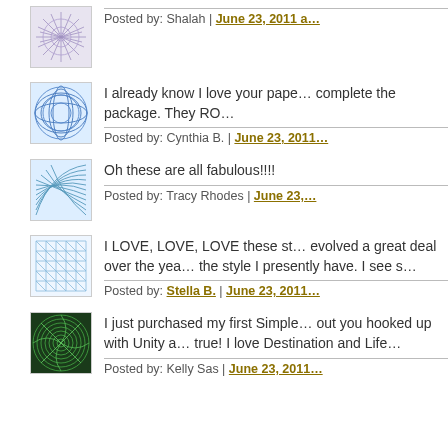[Figure (illustration): Avatar thumbnail with geometric snowflake/star pattern in light purple/blue tones]
Posted by: Shalah | June 23, 2011 a…
[Figure (illustration): Avatar thumbnail with blue sphere/grid geometric pattern]
I already know I love your pape… complete the package. They RO…
Posted by: Cynthia B. | June 23, 2011…
[Figure (illustration): Avatar thumbnail with blue wave/fan geometric pattern]
Oh these are all fabulous!!!!
Posted by: Tracy Rhodes | June 23,…
[Figure (illustration): Avatar thumbnail with light blue crosshatch/network geometric pattern]
I LOVE, LOVE, LOVE these st… evolved a great deal over the yea… the style I presently have. I see s…
Posted by: Stella B. | June 23, 2011…
[Figure (illustration): Avatar thumbnail with dark green spiral/swirl geometric pattern]
I just purchased my first Simple… out you hooked up with Unity a… true! I love Destination and Life…
Posted by: Kelly Sas | June 23, 2011…